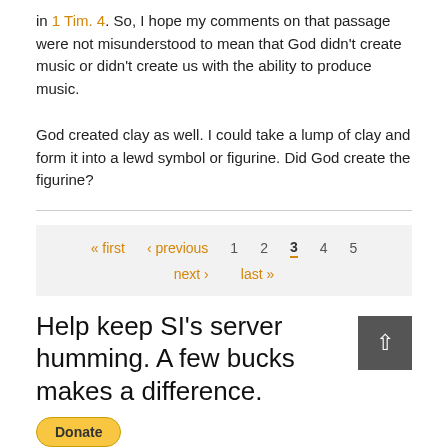in 1 Tim. 4. So, I hope my comments on that passage were not misunderstood to mean that God didn't create music or didn't create us with the ability to produce music.
God created clay as well. I could take a lump of clay and form it into a lewd symbol or figurine. Did God create the figurine?
« first ‹ previous 1 2 3 4 5 next › last »
Help keep SI's server humming. A few bucks makes a difference.
Donate